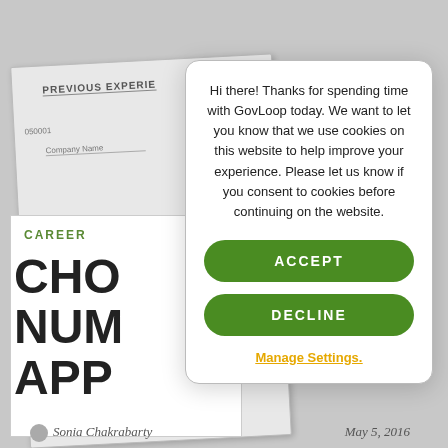[Figure (screenshot): Background document form with labels: PREVIOUS EXPERIENCE, Company Name, APPLICATION, L INFORMATION]
CAREER
CHO
NUM
APP
Hi there! Thanks for spending time with GovLoop today. We want to let you know that we use cookies on this website to help improve your experience. Please let us know if you consent to cookies before continuing on the website.
ACCEPT
DECLINE
Manage Settings.
Sonia Chakrabarty     May 5, 2016